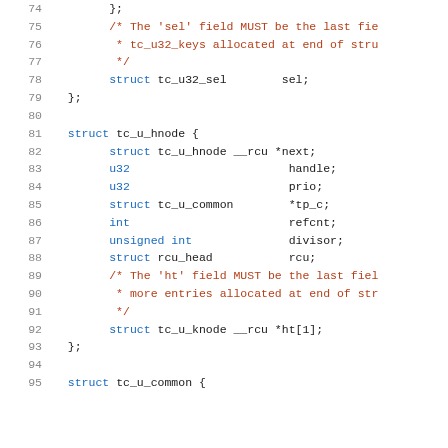Source code listing showing C struct definitions (lines 74-95): tc_u32_filter struct ending and tc_u_hnode struct definition with fields: next, handle, prio, tp_c, refcnt, divisor, rcu, ht[1]